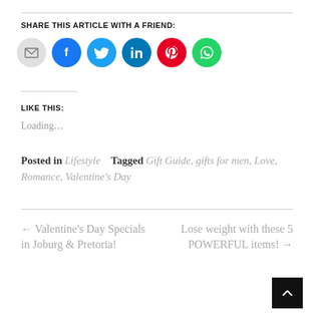SHARE THIS ARTICLE WITH A FRIEND:
[Figure (other): Row of social sharing icon buttons: email (grey), Facebook (blue), Twitter (light blue), LinkedIn (dark teal), Pinterest (red), WhatsApp (green)]
LIKE THIS:
Loading...
Posted in Lifestyle   Tagged Gift Guide, gifts for men, Love, Romance, Valentine's Day
← Valentine's Day Specials in Joburg & Pretoria!
Lose weight with these 5 POWERFUL items! →